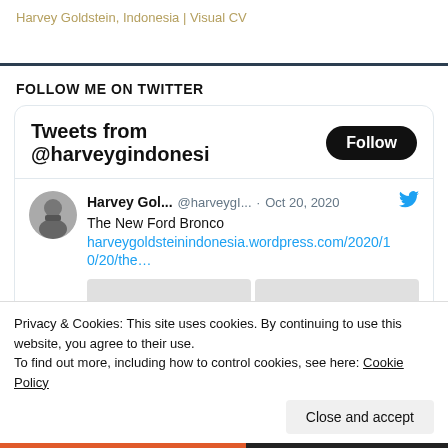Harvey Goldstein, Indonesia | Visual CV
FOLLOW ME ON TWITTER
[Figure (screenshot): Twitter widget showing 'Tweets from @harveygindonesi' with a Follow button, and a tweet from Harvey Gol... (@harveygI... · Oct 20, 2020) reading 'The New Ford Bronco harveygoldsteinindonesia.wordpress.com/2020/10/20/the...']
Privacy & Cookies: This site uses cookies. By continuing to use this website, you agree to their use.
To find out more, including how to control cookies, see here: Cookie Policy
Close and accept